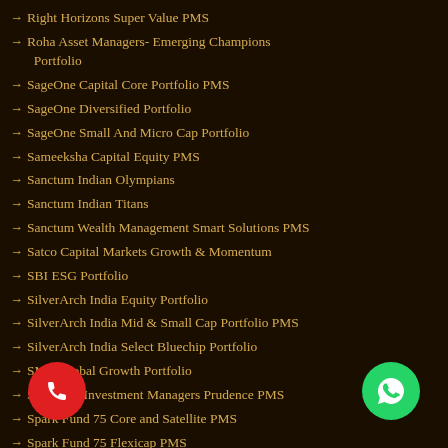Right Horizons Super Value PMS
Roha Asset Managers- Emerging Champions Portfolio
SageOne Capital Core Portfolio PMS
SageOne Diversified Portfolio
SageOne Small And Micro Cap Portfolio
Sameeksha Capital Equity PMS
Sanctum Indian Olympians
Sanctum Indian Titans
Sanctum Wealth Management Smart Solutions PMS
Satco Capital Markets Growth & Momentum
SBI ESG Portfolio
SilverArch India Equity Portfolio
SilverArch India Mid & Small Cap Portfolio PMS
SilverArch India Select Bluechip Portfolio
SMC Global Growth Portfolio
Solidarity Investment Managers Prudence PMS
Spark Fund 75 Core and Satellite PMS
Spark Fund 75 Flexicap PMS
Stallion Asset Core Fund Portfolio
SUNDARAM Emerging Leaders Fund